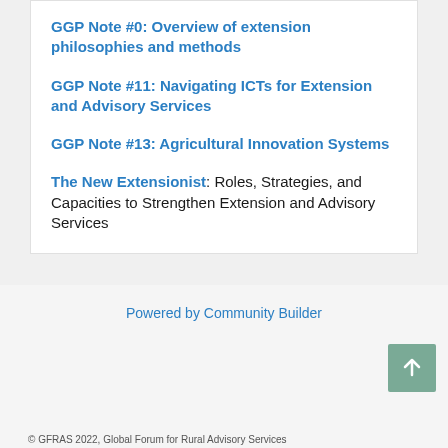GGP Note #0: Overview of extension philosophies and methods
GGP Note #11: Navigating ICTs for Extension and Advisory Services
GGP Note #13: Agricultural Innovation Systems
The New Extensionist: Roles, Strategies, and Capacities to Strengthen Extension and Advisory Services
Powered by Community Builder
© GFRAS 2022, Global Forum for Rural Advisory Services